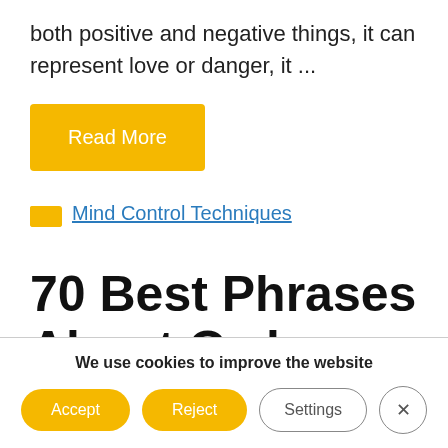both positive and negative things, it can represent love or danger, it ...
Read More
Mind Control Techniques
70 Best Phrases About Owls
We use cookies to improve the website
Accept
Reject
Settings